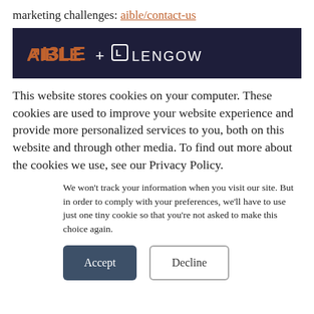marketing challenges: aible/contact-us
[Figure (logo): AIBLE + LENGOW logo on dark navy background]
This website stores cookies on your computer. These cookies are used to improve your website experience and provide more personalized services to you, both on this website and through other media. To find out more about the cookies we use, see our Privacy Policy.
We won't track your information when you visit our site. But in order to comply with your preferences, we'll have to use just one tiny cookie so that you're not asked to make this choice again.
Accept  Decline